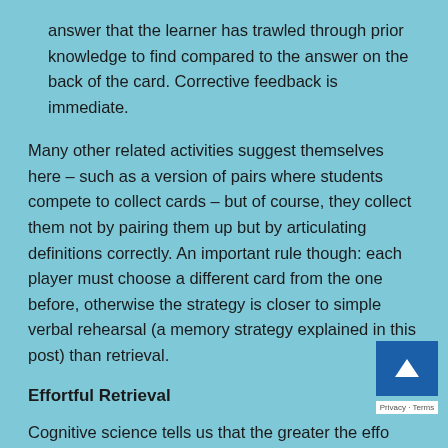answer that the learner has trawled through prior knowledge to find compared to the answer on the back of the card. Corrective feedback is immediate.
Many other related activities suggest themselves here – such as a version of pairs where students compete to collect cards – but of course, they collect them not by pairing them up but by articulating definitions correctly. An important rule though: each player must choose a different card from the one before, otherwise the strategy is closer to simple verbal rehearsal (a memory strategy explained in this post) than retrieval.
Effortful Retrieval
Cognitive science tells us that the greater the effort to retrieve learning, the more that learning is strengthened by the act of retrieving it. Students should therefore